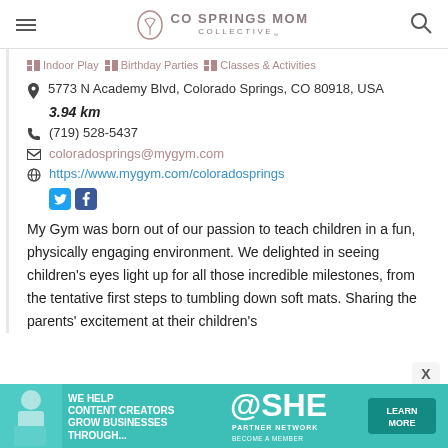CO SPRINGS MOM COLLECTIVE
Indoor Play   Birthday Parties   Classes & Activities
5773 N Academy Blvd, Colorado Springs, CO 80918, USA
3.94 km
(719) 528-5437
coloradosprings@mygym.com
https://www.mygym.com/coloradosprings
My Gym was born out of our passion to teach children in a fun, physically engaging environment. We delighted in seeing children's eyes light up for all those incredible milestones, from the tentative first steps to tumbling down soft mats. Sharing the parents' excitement at their children's
[Figure (infographic): Advertisement banner for SHE Media Partner Network reading: WE HELP CONTENT CREATORS GROW BUSINESSES THROUGH... with a LEARN MORE button]